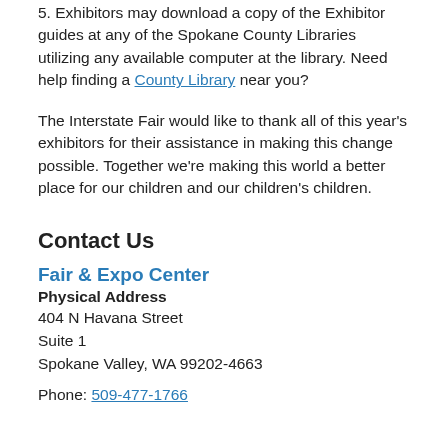5. Exhibitors may download a copy of the Exhibitor guides at any of the Spokane County Libraries utilizing any available computer at the library. Need help finding a County Library near you?
The Interstate Fair would like to thank all of this year's exhibitors for their assistance in making this change possible. Together we're making this world a better place for our children and our children's children.
Contact Us
Fair & Expo Center
Physical Address
404 N Havana Street
Suite 1
Spokane Valley, WA 99202-4663
Phone: 509-477-1766